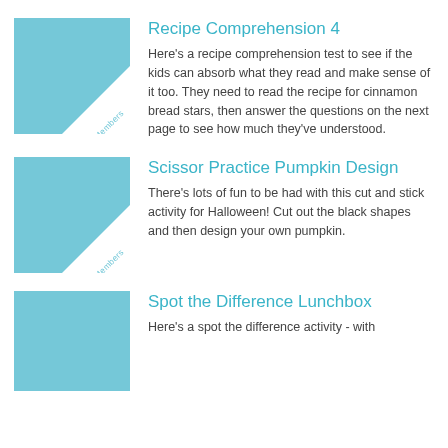[Figure (illustration): Light blue square thumbnail with a white triangle in the bottom-right corner containing the text 'Members' at 45 degrees]
Recipe Comprehension 4
Here's a recipe comprehension test to see if the kids can absorb what they read and make sense of it too. They need to read the recipe for cinnamon bread stars, then answer the questions on the next page to see how much they've understood.
[Figure (illustration): Light blue square thumbnail with a white triangle in the bottom-right corner containing the text 'Members' at 45 degrees]
Scissor Practice Pumpkin Design
There's lots of fun to be had with this cut and stick activity for Halloween! Cut out the black shapes and then design your own pumpkin.
[Figure (illustration): Light blue square thumbnail (partially visible)]
Spot the Difference Lunchbox
Here's a spot the difference activity - with